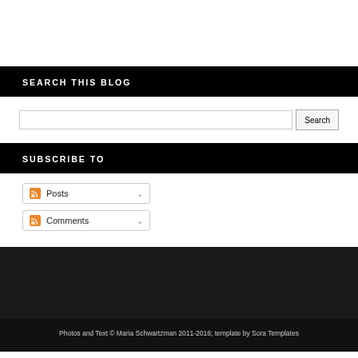SEARCH THIS BLOG
[Figure (screenshot): Search input box with Search button]
SUBSCRIBE TO
Posts
Comments
Photos and Text © Maria Schwartzman 2011-2016; template by Sora Templates